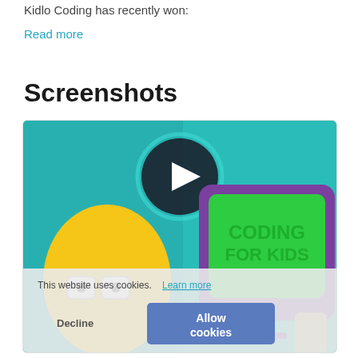Kidlo Coding has recently won:
Read more
Screenshots
[Figure (screenshot): Screenshot of Kidlo Coding app showing a cartoon character with glasses and a green monitor screen displaying 'CODING FOR KIDS', with a play button visible. A cookie consent banner overlay is visible with text: 'This website uses cookies. Learn more' and buttons 'Decline' and 'Allow cookies'.]